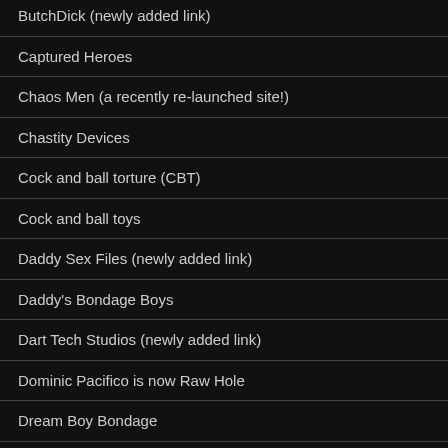ButchDick (newly added link)
Captured Heroes
Chaos Men (a recently re-launched site!)
Chastity Devices
Cock and ball torture (CBT)
Cock and ball toys
Daddy Sex Files (newly added link)
Daddy's Bondage Boys
Dart Tech Studios (newly added link)
Dominic Pacifico is now Raw Hole
Dream Boy Bondage
Drummer magazine relaunch
E-Stim Systems